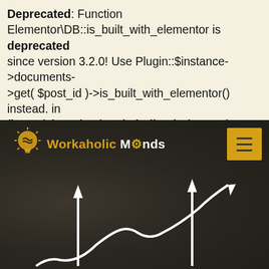Deprecated: Function Elementor\DB::is_built_with_elementor is deprecated since version 3.2.0! Use Plugin::$instance->documents->get( $post_id )->is_built_with_elementor() instead. in /home/shouskez/workaholicminds.com/wp-includes/functions.php on line 5379
[Figure (screenshot): Workaholic Minds website header with logo on dark background, hamburger menu button, and upward-trending line chart graphic at the bottom]